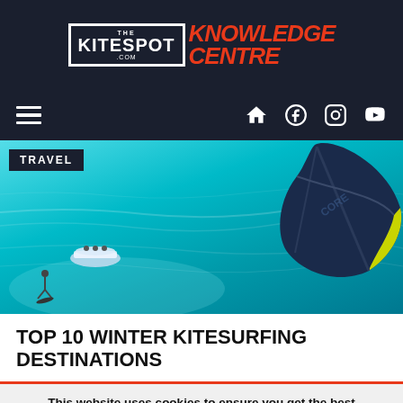THE KITESPOT.COM KNOWLEDGE CENTRE
[Figure (screenshot): Navigation bar with hamburger menu icon on left and home, Facebook, Instagram, YouTube icons on right, on dark background]
[Figure (photo): Aerial view of kitesurfer and boat on turquoise shallow water with a large dark blue kite visible in upper right corner, with TRAVEL category label overlay]
TOP 10 WINTER KITESURFING DESTINATIONS
This website uses cookies to ensure you get the best experience. For more information check out our Privacy Policy